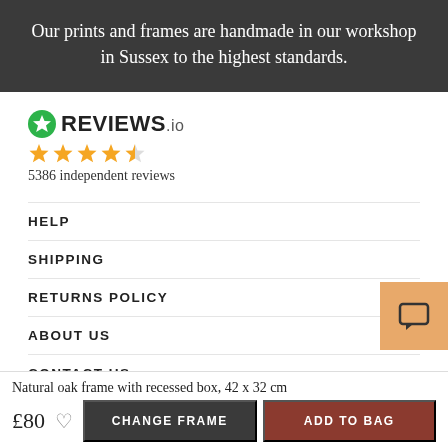Our prints and frames are handmade in our workshop in Sussex to the highest standards.
[Figure (logo): Reviews.io logo with green circular star icon and bold REVIEWS.io text]
[Figure (other): 4.5 star rating shown as orange stars]
5386 independent reviews
HELP
SHIPPING
RETURNS POLICY
ABOUT US
CONTACT US
[Figure (other): Orange chat/speech bubble icon button]
Natural oak frame with recessed box, 42 x 32 cm
£80
CHANGE FRAME
ADD TO BAG